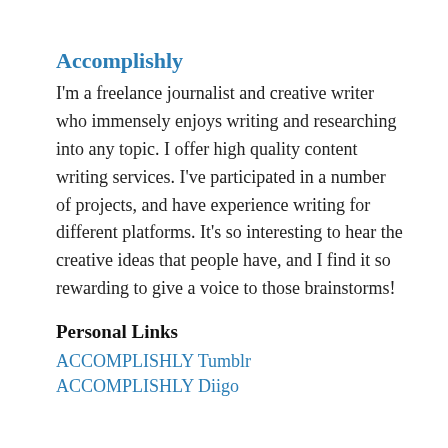Accomplishly
I'm a freelance journalist and creative writer who immensely enjoys writing and researching into any topic. I offer high quality content writing services. I've participated in a number of projects, and have experience writing for different platforms. It's so interesting to hear the creative ideas that people have, and I find it so rewarding to give a voice to those brainstorms!
Personal Links
ACCOMPLISHLY Tumblr
ACCOMPLISHLY Diigo